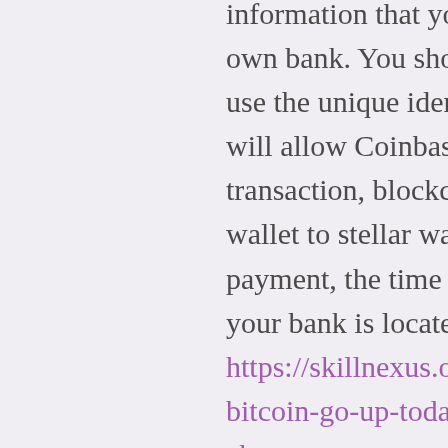information that you will need to fund with your own bank. You should also make sure that you use the unique identifier when funding as this will allow Coinbase Pro to track your transaction, blockchain btc trading binance wallet to stellar wallet. Once you make the payment, the time taken will depend on where your bank is located etc. https://skillnexus.org/groups/how-much-did-bitcoin-go-up-today-how-much-does-binance-charge-per-transaction/ Immediate or Cancel: the Order will only be posted to the Order Book to the extent that it would be immediately